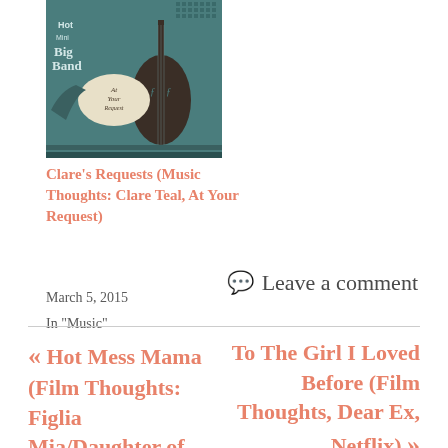[Figure (illustration): Album cover for Clare Teal 'Hot Mini Big Band At Your Request' with teal/brown illustrated design featuring musical instruments]
Clare's Requests (Music Thoughts: Clare Teal, At Your Request)
March 5, 2015
In "Music"
Leave a comment
« Hot Mess Mama (Film Thoughts: Figlia Mia/Daughter of
To The Girl I Loved Before (Film Thoughts, Dear Ex, Netflix) »